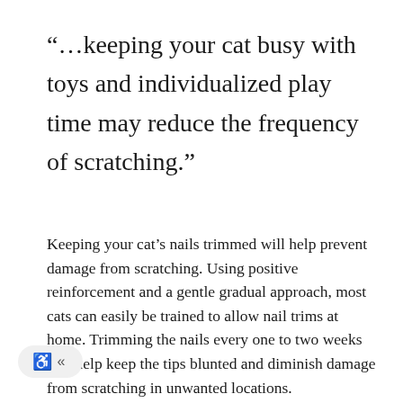"...keeping your cat busy with toys and individualized play time may reduce the frequency of scratching."
Keeping your cat's nails trimmed will help prevent damage from scratching. Using positive reinforcement and a gentle gradual approach, most cats can easily be trained to allow nail trims at home. Trimming the nails every one to two weeks will help keep the tips blunted and diminish damage from scratching in unwanted locations.